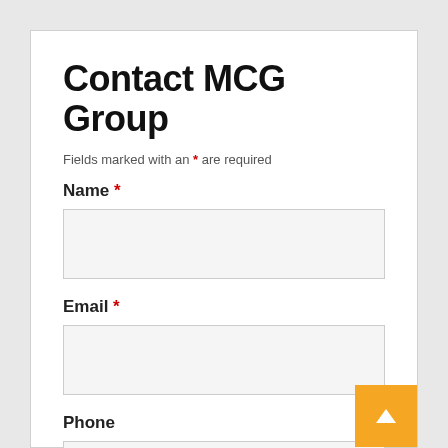Contact MCG Group
Fields marked with an * are required
Name *
Email *
Phone